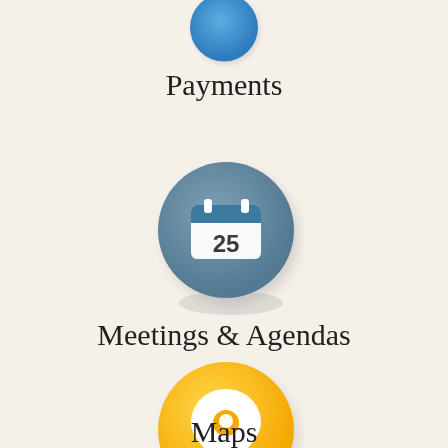[Figure (illustration): Partial blue circle icon (payments) cropped at top of page]
Payments
[Figure (illustration): Steel blue circle icon with calendar showing number 25]
Meetings & Agendas
[Figure (illustration): Yellow/gold circle icon with white map location pin and yellow dot]
Maps